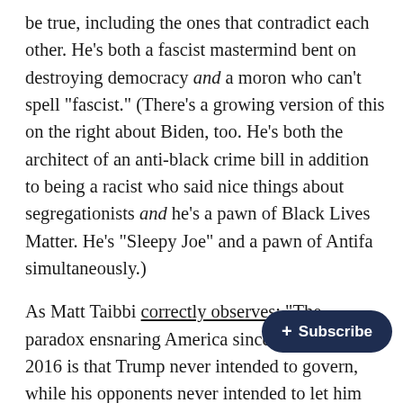be true, including the ones that contradict each other. He's both a fascist mastermind bent on destroying democracy and a moron who can't spell "fascist." (There's a growing version of this on the right about Biden, too. He's both the architect of an anti-black crime bill in addition to being a racist who said nice things about segregationists and he's a pawn of Black Lives Matter. He's "Sleepy Joe" and a pawn of Antifa simultaneously.)
As Matt Taibbi correctly observes: "The paradox ensnaring America since November, 2016 is that Trump never intended to govern, while his opponents never intended to let him try."
Again, I don't think there's "both sid… The mere fact that this story is believable demonstrates